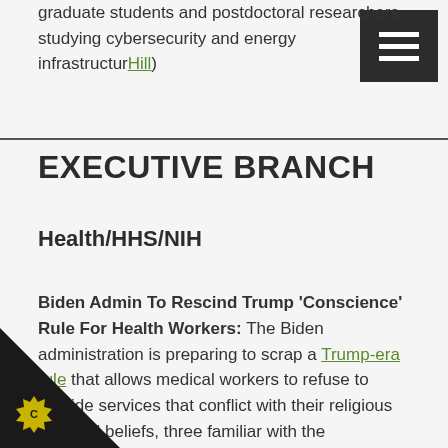graduate students and postdoctoral researchers studying cybersecurity and energy infrastructure Hill)
EXECUTIVE BRANCH
Health/HHS/NIH
Biden Admin To Rescind Trump ‘Conscience’ Rule For Health Workers: The Biden administration is preparing to scrap a Trump-era rule that allows medical workers to refuse to provide services that conflict with their religious or moral beliefs, three familiar with the deliberations told POLITICO. A